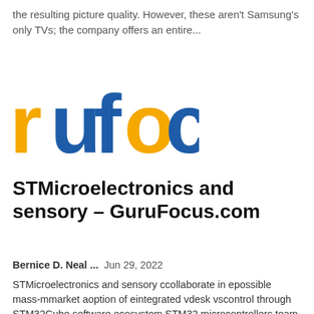the resulting picture quality. However, these aren't Samsung's only TVs; the company offers an entire...
[Figure (logo): GuruFocus logo showing 'rufoc' text partially visible, with yellow/orange 'r' and 'o' letters and blue 'u', 'f', 'o', 'c' letters]
STMicroelectronics and sensory – GuruFocus.com
Bernice D. Neal ...   Jun 29, 2022
STMicroelectronics and sensory ccollaborate in epossible mass-mmarket aoption of eintegrated vdesk vscontrol through STM32Cube software ecosystem STM32 microcontrollers team up with Sensory's VoiceHub technology to streamline...